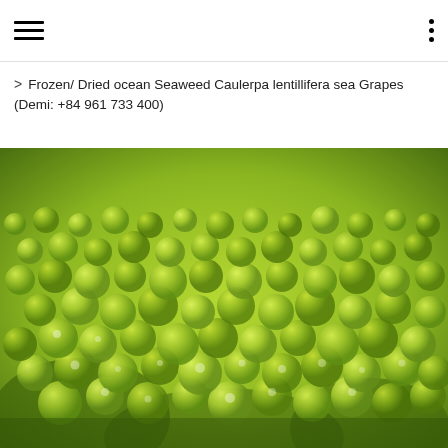Frozen/ Dried ocean Seaweed Caulerpa lentillifera sea Grapes (Demi: +84 961 733 400)
[Figure (photo): Close-up macro photograph of Caulerpa lentillifera (sea grapes), showing bright yellow-green translucent spherical bubbles clustered densely together on stalks, filling the entire frame.]